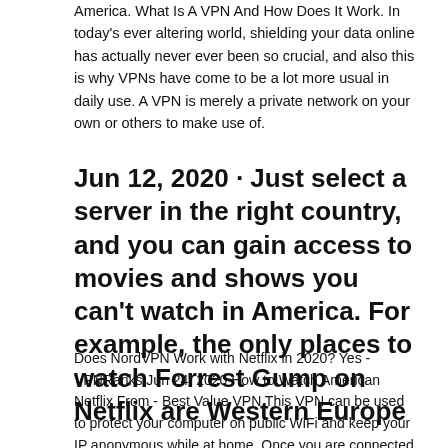America. What Is A VPN And How Does It Work. In today's ever altering world, shielding your data online has actually never ever been so crucial, and also this is why VPNs have come to be a lot more usual in daily use. A VPN is merely a private network on your own or others to make use of.
Jun 12, 2020 · Just select a server in the right country, and you can gain access to movies and shows you can't watch in America. For example, the only places to watch Forrest Gump on Netflix are Western Europe
Does NordVPN Work with Netflix in 2020? Yes - VPNRanks Jun 24, 2020 How to Watch American Netflix From - Best Value VPN This VPN can be used to protect your computer on public WiFi and keep your IP anonymous while at home. Once you are connected to their site, you have access to hundreds of different servers account the world. Get a VPN to watch